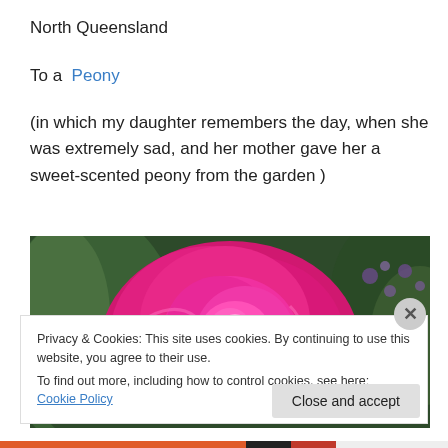North Queensland
To a  Peony
(in which my daughter remembers the day, when she was extremely sad, and her mother gave her a sweet-scented peony from the garden )
[Figure (photo): Close-up photograph of a vibrant pink/magenta peony flower in full bloom, with green foliage and purple flowers visible in the background.]
Privacy & Cookies: This site uses cookies. By continuing to use this website, you agree to their use.
To find out more, including how to control cookies, see here: Cookie Policy
Close and accept